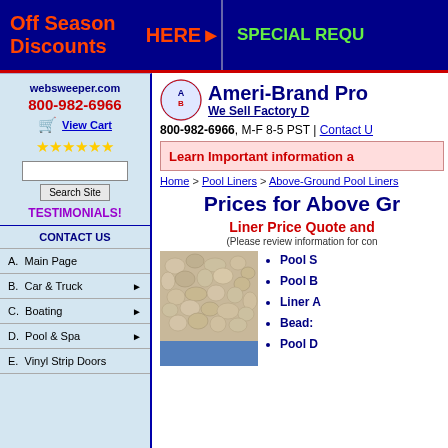Off Season Discounts HERE ▶    SPECIAL REQU
websweeper.com
800-982-6966
View Cart
TESTIMONIALS!
CONTACT US
A.  Main Page
B.  Car & Truck
C.  Boating
D.  Pool & Spa
E.  Vinyl Strip Doors
Ameri-Brand Pro
We Sell Factory D
800-982-6966, M-F 8-5 PST | Contact U
Learn Important information a
Home > Pool Liners > Above-Ground Pool Liners
Prices for Above Gr
Liner Price Quote and
(Please review information for con
[Figure (photo): Pebble/stone texture pool liner photo]
Pool S
Pool B
Liner A
Bead:
Pool D